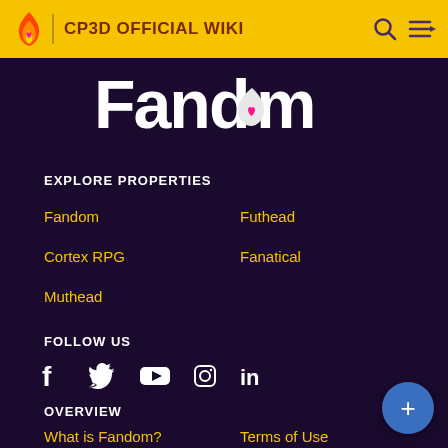CP3D OFFICIAL WIKI
[Figure (logo): Fandom logo in white and pink/red on dark purple background]
EXPLORE PROPERTIES
Fandom
Futhead
Cortex RPG
Fanatical
Muthead
FOLLOW US
[Figure (illustration): Social media icons: Facebook, Twitter, YouTube, Instagram, LinkedIn]
OVERVIEW
What is Fandom?
Terms of Use